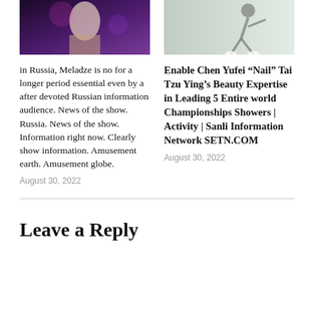[Figure (photo): Photo of a performer on stage with purple/blue lighting background, partially cropped at top]
[Figure (photo): Photo of a badminton player in action on court, partially cropped at top]
in Russia, Meladze is no for a longer period essential even by a after devoted Russian information audience. News of the show. Russia. News of the show. Information right now. Clearly show information. Amusement earth. Amusement globe.
August 30, 2022
Enable Chen Yufei “Nail” Tai Tzu Ying’s Beauty Expertise in Leading 5 Entire world Championships Showers | Activity | Sanli Information Network SETN.COM
August 30, 2022
Leave a Reply